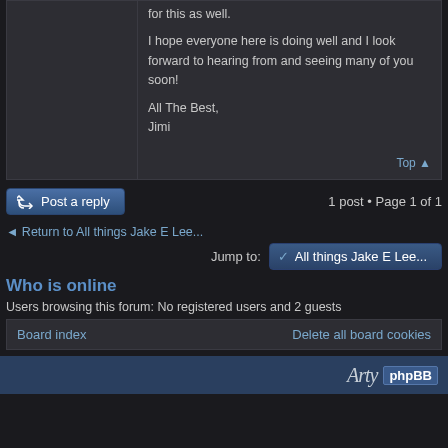for this as well.

I hope everyone here is doing well and I look forward to hearing from and seeing many of you soon!

All The Best,
Jimi
Top
Post a reply
1 post • Page 1 of 1
Return to All things Jake E Lee...
Jump to:  All things Jake E Lee...
Who is online
Users browsing this forum: No registered users and 2 guests
Board index   Delete all board cookies